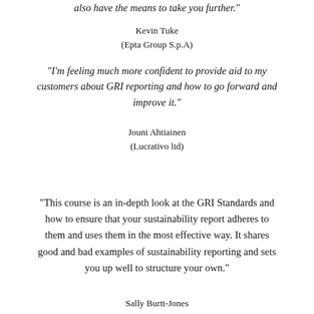also have the means to take you further."
Kevin Tuke
(Epta Group S.p.A)
"I'm feeling much more confident to provide aid to my customers about GRI reporting and how to go forward and improve it."
Jouni Ahtiainen
(Lucrativo ltd)
"This course is an in-depth look at the GRI Standards and how to ensure that your sustainability report adheres to them and uses them in the most effective way. It shares good and bad examples of sustainability reporting and sets you up well to structure your own."
Sally Burtt-Jones